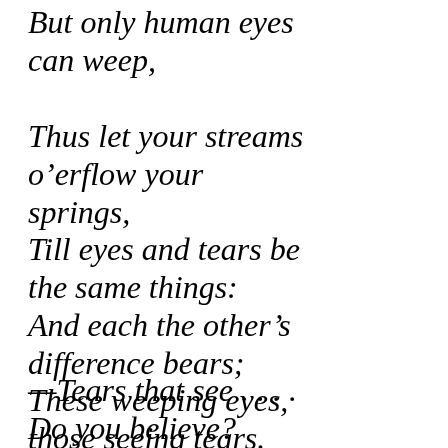But only human eyes can weep,
Thus let your streams o’erflow your springs,
Till eyes and tears be the same things:
And each the other’s difference bears;
These weeping eyes, those seeing tears.
—Tears that see . . . .
Do you believe?
—I don’t know, one has to believe